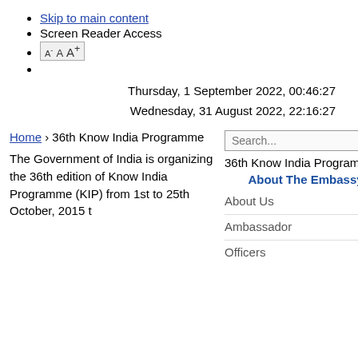Skip to main content
Screen Reader Access
A- A A+
Thursday, 1 September 2022, 00:46:27
Wednesday, 31 August 2022, 22:16:27
Search...
36th Know India Programme
About The Embassy
Home › 36th Know India Programme
The Government of India is organizing the 36th edition of Know India Programme (KIP) from 1st to 25th October, 2015 t
About Us
Ambassador
Officers